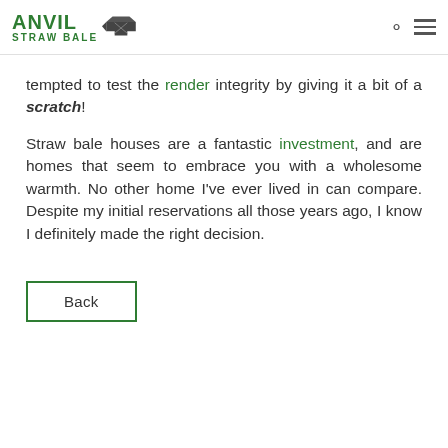ANVIL STRAW BALE
tempted to test the render integrity by giving it a bit of a scratch!
Straw bale houses are a fantastic investment, and are homes that seem to embrace you with a wholesome warmth. No other home I’ve ever lived in can compare. Despite my initial reservations all those years ago, I know I definitely made the right decision.
Back